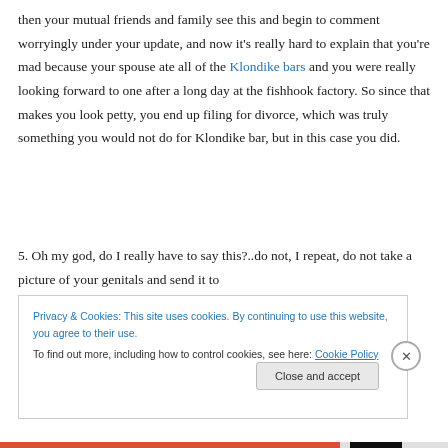then your mutual friends and family see this and begin to comment worryingly under your update, and now it's really hard to explain that you're mad because your spouse ate all of the Klondike bars and you were really looking forward to one after a long day at the fishhook factory. So since that makes you look petty, you end up filing for divorce, which was truly something you would not do for Klondike bar, but in this case you did.
5. Oh my god, do I really have to say this?..do not, I repeat, do not take a picture of your genitals and send it to
Privacy & Cookies: This site uses cookies. By continuing to use this website, you agree to their use.
To find out more, including how to control cookies, see here: Cookie Policy